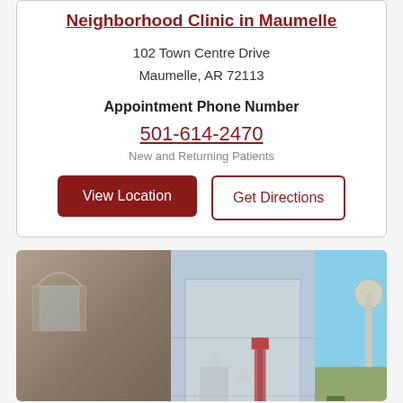Neighborhood Clinic in Maumelle
102 Town Centre Drive
Maumelle, AR 72113
Appointment Phone Number
501-614-2470
New and Returning Patients
View Location
Get Directions
[Figure (photo): Exterior photo of UAMS Neighborhood Clinic building with arched entrance, glass office buildings behind it, an American flag, and a capitol dome visible in the background against a blue sky.]